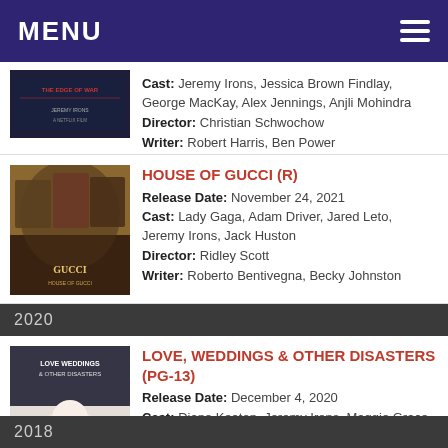MENU
Cast: Jeremy Irons, Jessica Brown Findlay, George MacKay, Alex Jennings, Anjli Mohindra
Director: Christian Schwochow
Writer: Robert Harris, Ben Power
HOUSE OF GUCCI (R)
Release Date: November 24, 2021
Cast: Lady Gaga, Adam Driver, Jared Leto, Jeremy Irons, Jack Huston
Director: Ridley Scott
Writer: Roberto Bentivegna, Becky Johnston
2020
LOVE, WEDDINGS & OTHER DISASTERS (PG-13)
Release Date: December 4, 2020
Cast: Diane Keaton, Jeremy Irons, Maggie Grace, Jesse McCartney, Chandra West
Director: Dennis Dugan
Writer: Dennis Dugan
2018